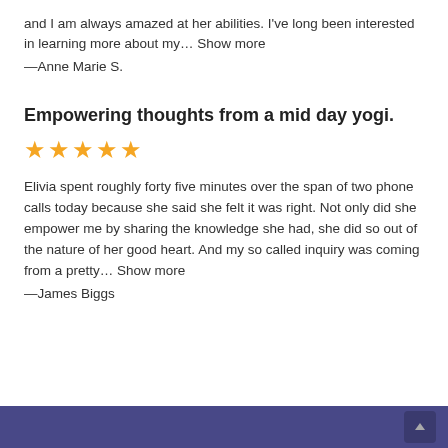and I am always amazed at her abilities. I've long been interested in learning more about my…  Show more
—Anne Marie S.
Empowering thoughts from a mid day yogi.
★★★★★
Elivia spent roughly forty five minutes over the span of two phone calls today because she said she felt it was right. Not only did she empower me by sharing the knowledge she had, she did so out of the nature of her good heart. And my so called inquiry was coming from a pretty…  Show more
—James Biggs